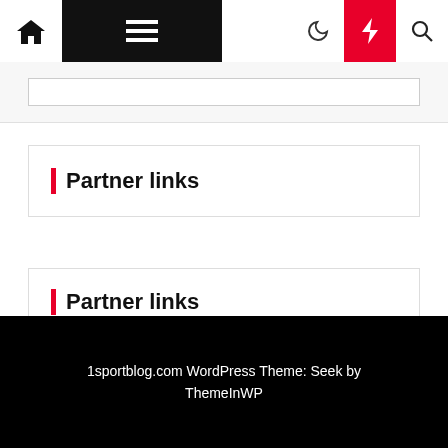Navigation bar with home, menu, moon, bolt, search icons
[Figure (screenshot): Search input box area]
Partner links
Partner links
Tech News
1sportblog.com WordPress Theme: Seek by ThemeInWP